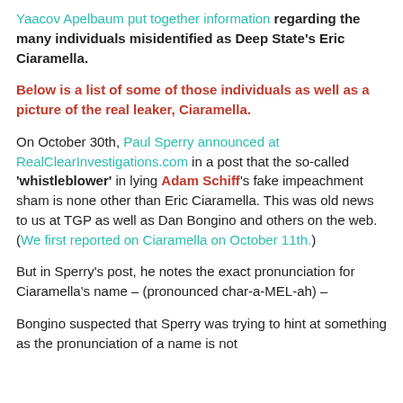Yaacov Apelbaum put together information regarding the many individuals misidentified as Deep State's Eric Ciaramella.
Below is a list of some of those individuals as well as a picture of the real leaker, Ciaramella.
On October 30th, Paul Sperry announced at RealClearInvestigations.com in a post that the so-called 'whistleblower' in lying Adam Schiff's fake impeachment sham is none other than Eric Ciaramella. This was old news to us at TGP as well as Dan Bongino and others on the web. (We first reported on Ciaramella on October 11th.)
But in Sperry's post, he notes the exact pronunciation for Ciaramella's name – (pronounced char-a-MEL-ah) –
Bongino suspected that Sperry was trying to hint at something as the pronunciation of a name is not